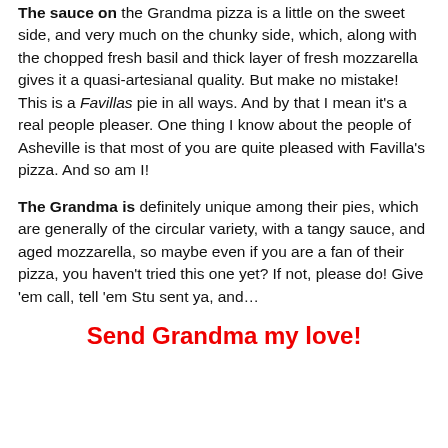The sauce on the Grandma pizza is a little on the sweet side, and very much on the chunky side, which, along with the chopped fresh basil and thick layer of fresh mozzarella gives it a quasi-artesianal quality. But make no mistake! This is a Favillas pie in all ways. And by that I mean it's a real people pleaser. One thing I know about the people of Asheville is that most of you are quite pleased with Favilla's pizza. And so am I!
The Grandma is definitely unique among their pies, which are generally of the circular variety, with a tangy sauce, and aged mozzarella, so maybe even if you are a fan of their pizza, you haven't tried this one yet? If not, please do! Give 'em call, tell 'em Stu sent ya, and…
Send Grandma my love!